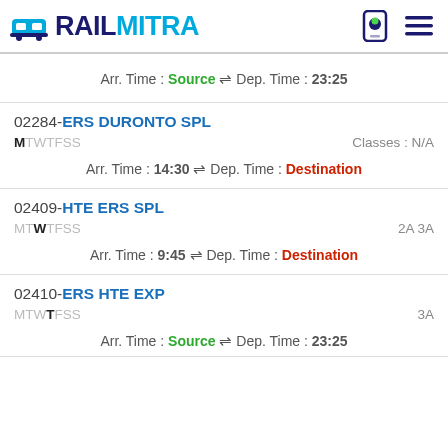RAILMITRA
Arr. Time : Source ⇌ Dep. Time : 23:25
02284-ERS DURONTO SPL
MTWTFSS  Classes : N/A
Arr. Time : 14:30 ⇌ Dep. Time : Destination
02409-HTE ERS SPL
MTWTFSS  2A 3A
Arr. Time : 9:45 ⇌ Dep. Time : Destination
02410-ERS HTE EXP
MTWTFSS  3A
Arr. Time : Source ⇌ Dep. Time : 23:25